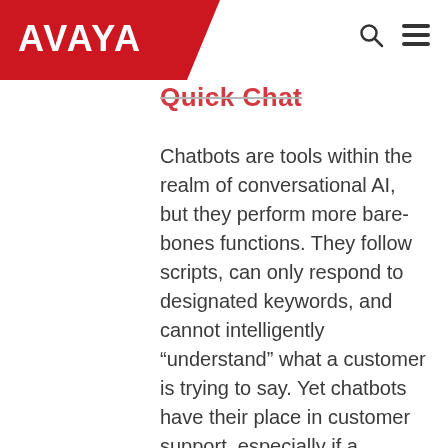[Figure (logo): Avaya logo in white text on red ribbon/banner background in top-left header]
Quick Chat
Chatbots are tools within the realm of conversational AI, but they perform more bare-bones functions. They follow scripts, can only respond to designated keywords, and cannot intelligently “understand” what a customer is trying to say. Yet chatbots have their place in customer support, especially if a business is looking for an affordable solution to self-